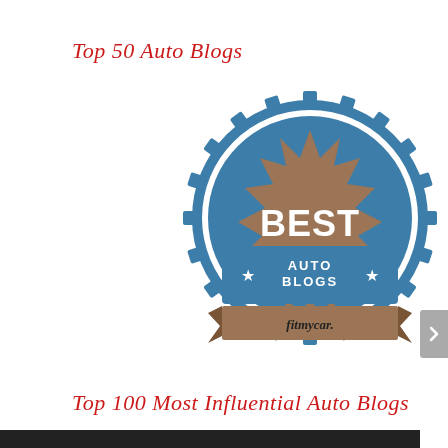Top 50 Auto Blogs
[Figure (illustration): Badge/seal graphic: a blue gear-edged circular badge with a brown starburst center. Text reads 'BEST' in large white bold letters, then a blue ribbon band with '★ AUTO BLOGS ★', and a brown banner below with 'fitmycar.' in italic text.]
Top 100 Most Influential Auto Blogs